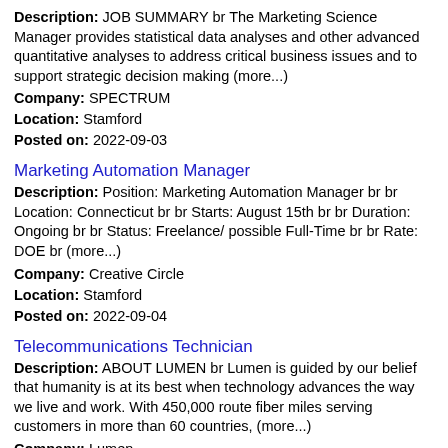Description: JOB SUMMARY br The Marketing Science Manager provides statistical data analyses and other advanced quantitative analyses to address critical business issues and to support strategic decision making (more...) Company: SPECTRUM Location: Stamford Posted on: 2022-09-03
Marketing Automation Manager
Description: Position: Marketing Automation Manager br br Location: Connecticut br br Starts: August 15th br br Duration: Ongoing br br Status: Freelance/ possible Full-Time br br Rate: DOE br (more...) Company: Creative Circle Location: Stamford Posted on: 2022-09-04
Telecommunications Technician
Description: ABOUT LUMEN br Lumen is guided by our belief that humanity is at its best when technology advances the way we live and work. With 450,000 route fiber miles serving customers in more than 60 countries, (more...) Company: Lumen Location: Hamden Posted on: 2022-08-31
Telecom Engineer